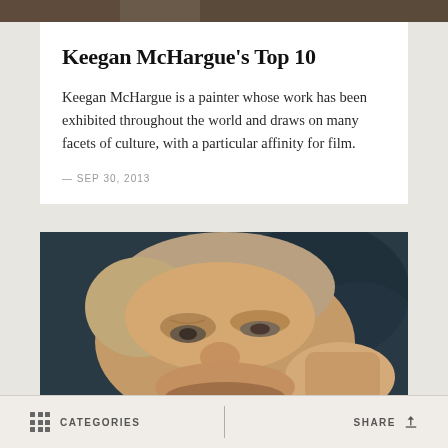[Figure (photo): Narrow horizontal strip of a photo at the very top of the page, partially cropped]
Keegan McHargue's Top 10
Keegan McHargue is a painter whose work has been exhibited throughout the world and draws on many facets of culture, with a particular affinity for film.
— SEP 30, 2013
[Figure (photo): Close-up photograph of a middle-aged man with grey-brown hair, looking to the side with his hand raised near his face, against a dark patterned background]
CATEGORIES   SHARE